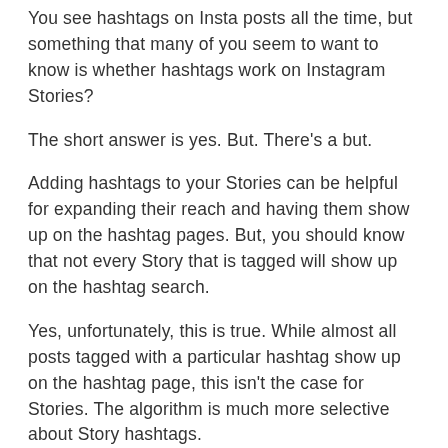You see hashtags on Insta posts all the time, but something that many of you seem to want to know is whether hashtags work on Instagram Stories?
The short answer is yes. But. There's a but.
Adding hashtags to your Stories can be helpful for expanding their reach and having them show up on the hashtag pages. But, you should know that not every Story that is tagged will show up on the hashtag search.
Yes, unfortunately, this is true. While almost all posts tagged with a particular hashtag show up on the hashtag page, this isn't the case for Stories. The algorithm is much more selective about Story hashtags.
As you can imagine, there is a huge volume of Stories published on Instagram daily. For Instagram to consider your Story worthy of